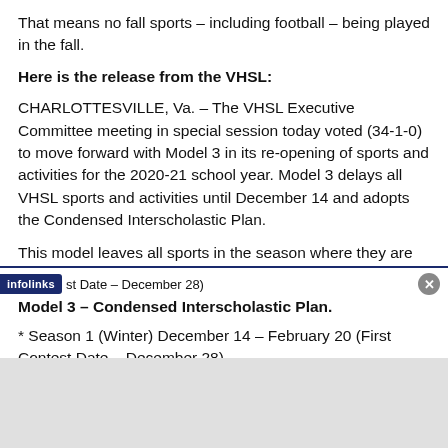That means no fall sports – including football – being played in the fall.
Here is the release from the VHSL:
CHARLOTTESVILLE, Va. – The VHSL Executive Committee meeting in special session today voted (34-1-0) to move forward with Model 3 in its re-opening of sports and activities for the 2020-21 school year. Model 3 delays all VHSL sports and activities until December 14 and adopts the Condensed Interscholastic Plan.
This model leaves all sports in the season where they are currently aligned.
Model 3 – Condensed Interscholastic Plan.
* Season 1 (Winter) December 14 – February 20 (First Contest Date – December 28)